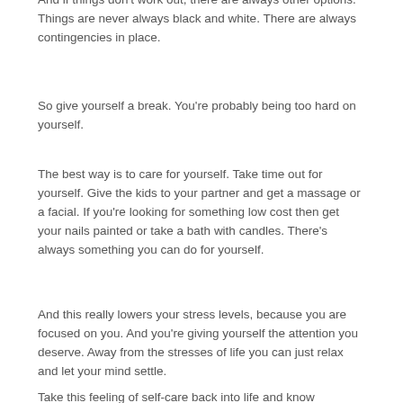And if things don't work out, there are always other options.  Things are never always black and white.  There are always contingencies in place.
So give yourself a break.  You're probably being too hard on yourself.
The best way is to care for yourself.  Take time out for yourself.  Give the kids to your partner and get a massage or a facial.  If you're looking for something low cost then get your nails painted or take a bath with candles.  There's always something you can do for yourself.
And this really lowers your stress levels, because you are focused on you.  And you're giving yourself the attention you deserve.  Away from the stresses of life you can just relax and let your mind settle.
Take this feeling of self-care back into life and know